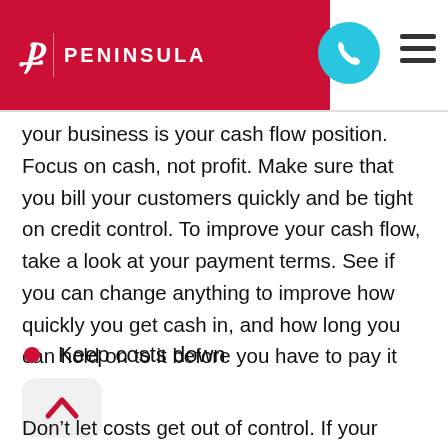PENINSULA
your business is your cash flow position. Focus on cash, not profit. Make sure that you bill your customers quickly and be tight on credit control. To improve your cash flow, take a look at your payment terms. See if you can change anything to improve how quickly you get cash in, and how long you can hold on to it before you have to pay it out.
Keep costs down
Don’t let costs get out of control. If your business is